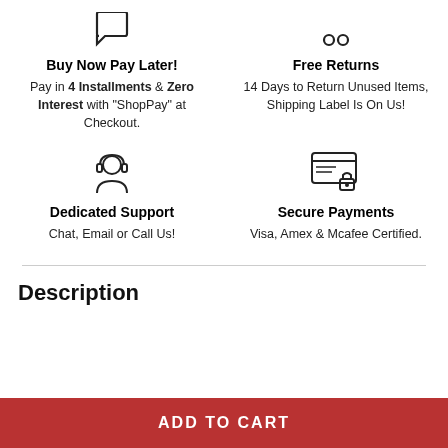[Figure (illustration): Icon of a shopping/payment symbol (partially cropped at top)]
Buy Now Pay Later!
Pay in 4 Installments & Zero Interest with "ShopPay" at Checkout.
[Figure (illustration): Icon of a return/arrow symbol with two dots (partially cropped at top)]
Free Returns
14 Days to Return Unused Items, Shipping Label Is On Us!
[Figure (illustration): Icon of a customer support person with headset]
Dedicated Support
Chat, Email or Call Us!
[Figure (illustration): Icon of a secure/locked credit card or payment terminal]
Secure Payments
Visa, Amex & Mcafee Certified.
Description
ADD TO CART